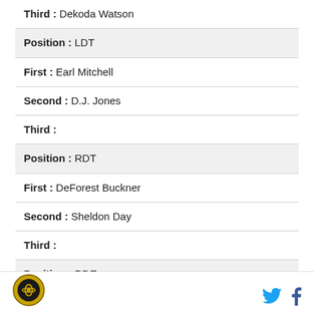Third : Dekoda Watson
Position : LDT
First : Earl Mitchell
Second : D.J. Jones
Third :
Position : RDT
First : DeForest Buckner
Second : Sheldon Day
Third :
Position : RDE
First : Arik Armstead